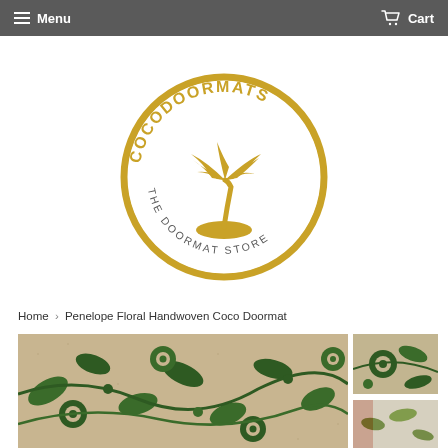Menu   Cart
[Figure (logo): CocodoormAts circular logo with gold circle border, palm tree illustration, text COCODOORMATS arched at top and THE DOORMAT STORE at bottom]
Home › Penelope Floral Handwoven Coco Doormat
[Figure (photo): Close-up photo of Penelope Floral Handwoven Coco Doormat showing green floral and leaf pattern on beige coco fibre background]
[Figure (photo): Thumbnail image of the Penelope Floral Handwoven Coco Doormat showing green floral pattern close-up]
[Figure (photo): Thumbnail image showing a different angle or color variation of the doormat]